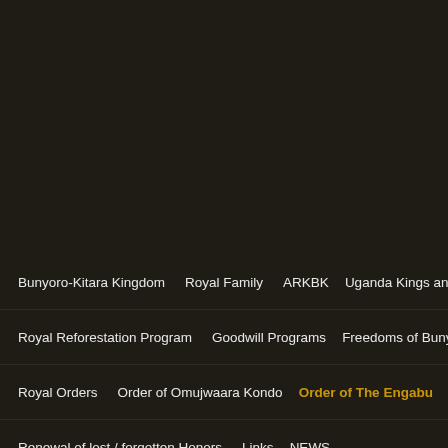Navigation menu for Bunyoro-Kitara Kingdom website
Bunyoro-Kitara Kingdom | Royal Family | ARKBK | Uganda Kings and...
Royal Reforestation Program | Goodwill Programs | Freedoms of Bunyoro-K...
Royal Orders | Order of Omujwaara Kondo | Order of The Engabu
Renewal of lost / forgotten Honors | Links | NEWS
Motto | Ecclesiastical Recognition | Organisation | Intergenerational Trans...